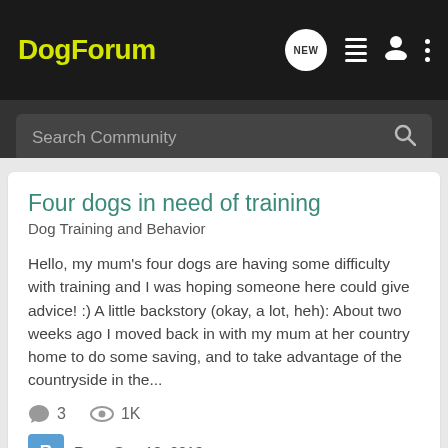DogForum
Search Community
Four dogs in need of training
Dog Training and Behavior
Hello, my mum's four dogs are having some difficulty with training and I was hoping someone here could give advice! :) A little backstory (okay, a lot, heh): About two weeks ago I moved back in with my mum at her country home to do some saving, and to take advantage of the countryside in the...
3  1K
Ran · Sep 18, 2013
english setter
gsd
husky
terrier mix
training
Condemned Terrier Mix